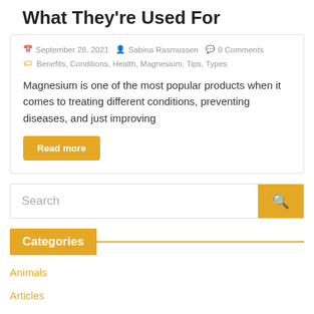What They're Used For
September 28, 2021   Sabina Rasmussen   0 Comments
Benefits, Conditions, Health, Magnesium, Tips, Types
Magnesium is one of the most popular products when it comes to treating different conditions, preventing diseases, and just improving
Read more
Search
Categories
Animals
Articles